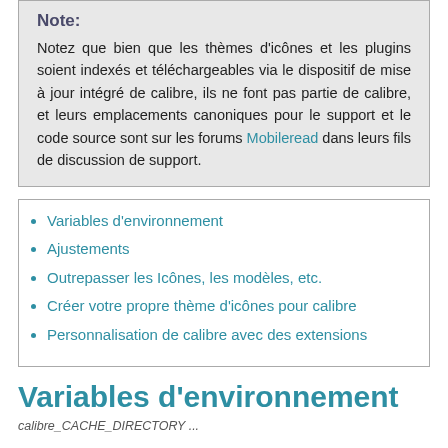Note:
Notez que bien que les thèmes d'icônes et les plugins soient indexés et téléchargeables via le dispositif de mise à jour intégré de calibre, ils ne font pas partie de calibre, et leurs emplacements canoniques pour le support et le code source sont sur les forums Mobileread dans leurs fils de discussion de support.
Variables d'environnement
Ajustements
Outrepasser les Icônes, les modèles, etc.
Créer votre propre thème d'icônes pour calibre
Personnalisation de calibre avec des extensions
Variables d'environnement
calibre_CACHE_DIRECTORY: ...